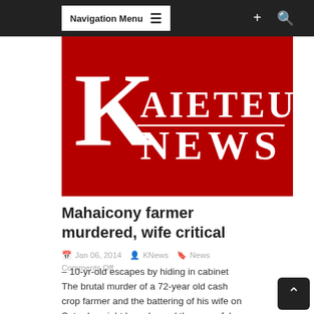Navigation Menu
[Figure (logo): Kaieteur News logo — white serif text on red background. Large decorative K on left, KAIETEUR text on top right, NEWS text below with horizontal rule separator.]
Mahaicony farmer murdered, wife critical
Jan 06, 2014  KNews  News Comments Off
– 10-yr-old escapes by hiding in cabinet The brutal murder of a 72-year old cash crop farmer and the battering of his wife on Saturday night has plunged the peaceful community of...